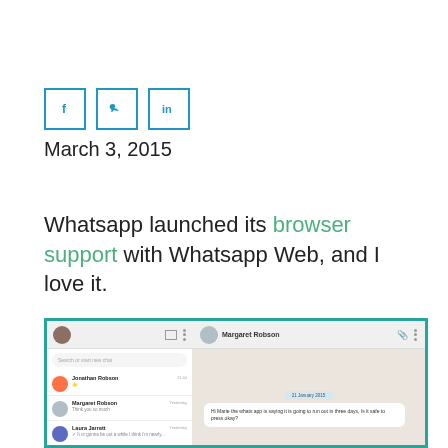[Figure (illustration): Three social media share buttons: Facebook (f), Twitter (bird), LinkedIn (in), each in a square border with teal/blue color]
March 3, 2015
Whatsapp launched its browser support with Whatsapp Web, and I love it.
[Figure (screenshot): Screenshot of WhatsApp Web interface showing left panel with chat list (Jonathan Robson, Margaret Robson, Laura Jarrett, Paul King) and right panel showing a conversation with Margaret Robson with a message bubble visible]